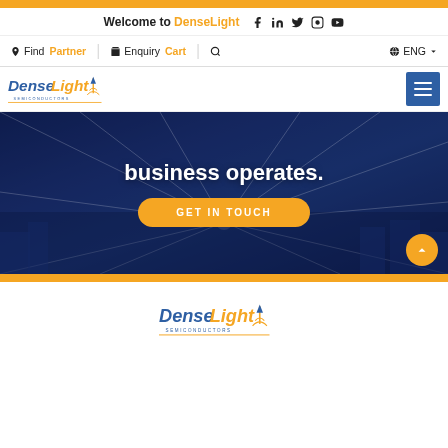Orange top bar
Welcome to DenseLight
[Figure (screenshot): Social media icons: Facebook, LinkedIn, Twitter, Instagram, YouTube]
Find Partner   Enquiry Cart   ENG
[Figure (logo): DenseLight Semiconductors logo with blue text and orange beacon graphic]
[Figure (screenshot): Hamburger menu icon (three white lines on blue background)]
[Figure (photo): Hero banner showing city skyline at night with network light rays and 'business operates.' text in white, and an orange GET IN TOUCH button]
Orange bottom bar
[Figure (logo): DenseLight Semiconductors logo in footer]